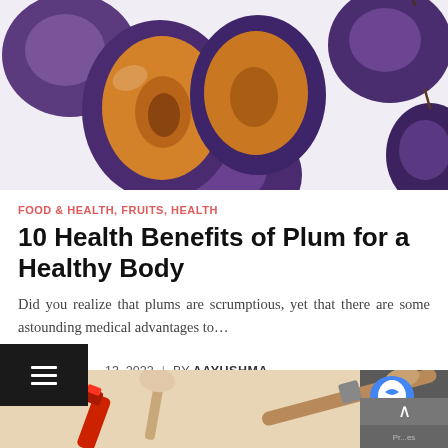[Figure (photo): Overhead photo of fresh plums, including halved plums showing the orange-yellow flesh and pit, on a white background]
FOOD & HEALTH, FRUITS, HEALTH
10 Health Benefits of Plum for a Healthy Body
Did you realize that plums are scrumptious, yet that there are some astounding medical advantages to...
13, 2022  |  BY AAYUSHMA
[Figure (photo): Bottom strip showing makeup brushes and red lipstick on a beige/tan background]